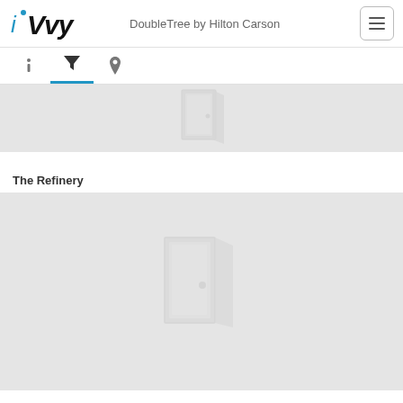iVvy — DoubleTree by Hilton Carson
[Figure (screenshot): Top partial room image placeholder with door icon on grey background]
The Refinery
[Figure (screenshot): Room image placeholder with door icon on grey background]